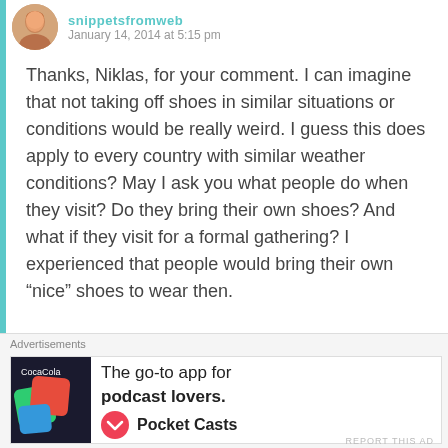January 14, 2014 at 5:15 pm
Thanks, Niklas, for your comment. I can imagine that not taking off shoes in similar situations or conditions would be really weird. I guess this does apply to every country with similar weather conditions? May I ask you what people do when they visit? Do they bring their own shoes? And what if they visit for a formal gathering? I experienced that people would bring their own “nice” shoes to wear then.
★ Like
REPLY
Advertisements
The go-to app for podcast lovers. Pocket Casts